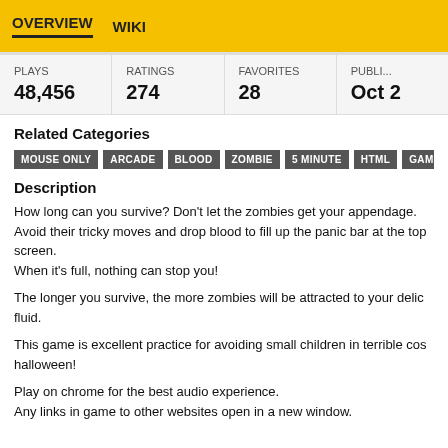OVERVIEW   WIKI
| PLAYS | RATINGS | FAVORITES | PUBLI... |
| --- | --- | --- | --- |
| 48,456 | 274 | 28 | Oct 2 |
Related Categories
MOUSE ONLY  ARCADE  BLOOD  ZOMBIE  5 MINUTE  HTML  GAMES OF 2...
Description
How long can you survive? Don't let the zombies get your appendage. Avoid their tricky moves and drop blood to fill up the panic bar at the top screen.
When it's full, nothing can stop you!
The longer you survive, the more zombies will be attracted to your delic fluid.
This game is excellent practice for avoiding small children in terrible cos halloween!
Play on chrome for the best audio experience.
Any links in game to other websites open in a new window.